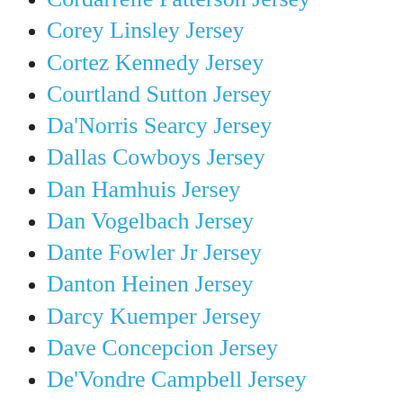Cordarrelle Patterson Jersey
Corey Linsley Jersey
Cortez Kennedy Jersey
Courtland Sutton Jersey
Da'Norris Searcy Jersey
Dallas Cowboys Jersey
Dan Hamhuis Jersey
Dan Vogelbach Jersey
Dante Fowler Jr Jersey
Danton Heinen Jersey
Darcy Kuemper Jersey
Dave Concepcion Jersey
De'Vondre Campbell Jersey
Dede Westbrook Jersey
Deion Sanders Jersey
Derek Carr Jersey